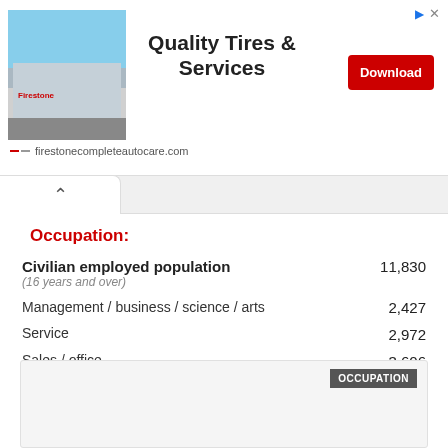[Figure (photo): Firestone Complete Auto Care advertisement banner with building photo, 'Quality Tires & Services' headline, Download button, and firestonecompleteautocare.com URL]
Occupation:
| Category | Value |
| --- | --- |
| Civilian employed population (16 years and over) | 11,830 |
| Management / business / science / arts | 2,427 |
| Service | 2,972 |
| Sales / office | 3,606 |
| Natural resources / construction / maintenance | 802 |
| Production / transportation / material moving | 2,023 |
[Figure (other): Occupation bar chart preview with 'OCCUPATION' label button]